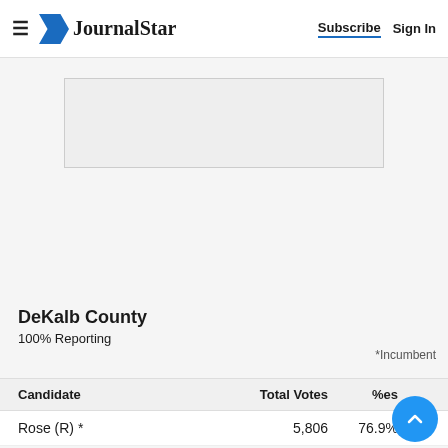JournalStar  Subscribe  Sign In
[Figure (other): Advertisement placeholder box]
DeKalb County
100% Reporting
*Incumbent
| Candidate | Total Votes | %es |
| --- | --- | --- |
| Rose (R) * | 5,806 | 76.9% |